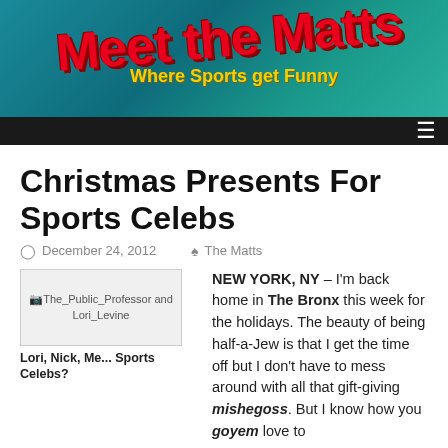[Figure (illustration): Meet the Matts website header banner with teal background, red stylized logo text 'Meet the Matts', yellow tagline 'Where Sports get Funny', two people visible on left and right sides, dark navigation bar at bottom with hamburger menu icon]
Christmas Presents For Sports Celebs
December 24, 2012   The Matts
[Figure (photo): The_Public_Professor and Lori_Levine photo placeholder]
Lori, Nick, Me... Sports Celebs?
NEW YORK, NY – I'm back home in The Bronx this week for the holidays. The beauty of being half-a-Jew is that I get the time off but I don't have to mess around with all that gift-giving mishegoss. But I know how you goyem love to max out your credit cards buying each other sweaters and aroma